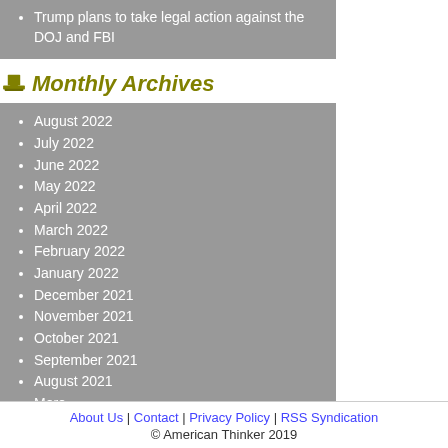Trump plans to take legal action against the DOJ and FBI
Monthly Archives
August 2022
July 2022
June 2022
May 2022
April 2022
March 2022
February 2022
January 2022
December 2021
November 2021
October 2021
September 2021
August 2021
More...
About Us | Contact | Privacy Policy | RSS Syndication © American Thinker 2019